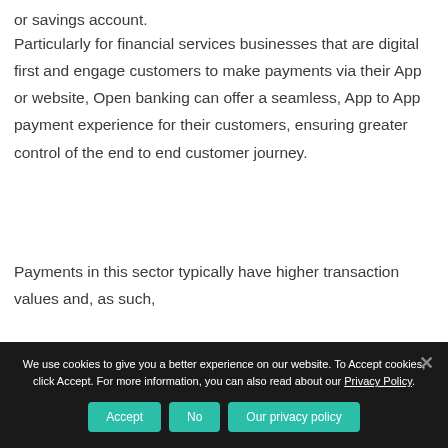or savings account.
Particularly for financial services businesses that are digital first and engage customers to make payments via their App or website, Open banking can offer a seamless, App to App payment experience for their customers, ensuring greater control of the end to end customer journey.
Payments in this sector typically have higher transaction values and, as such,
We use cookies to give you a better experience on our website. To Accept cookies, click Accept. For more information, you can also read about our Privacy Policy.
Accept | No | Our privacy policy